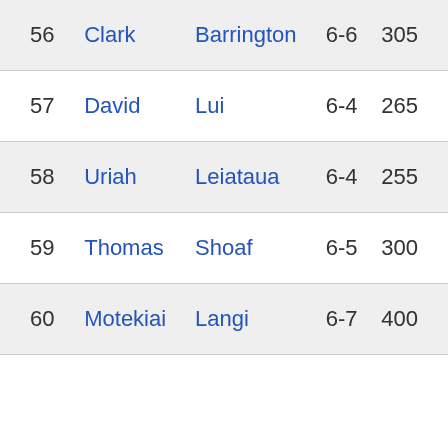| # | First | Last | Height | Weight |
| --- | --- | --- | --- | --- |
| 56 | Clark | Barrington | 6-6 | 305 |
| 57 | David | Lui | 6-4 | 265 |
| 58 | Uriah | Leiataua | 6-4 | 255 |
| 59 | Thomas | Shoaf | 6-5 | 300 |
| 60 | Motekiai | Langi | 6-7 | 400 |